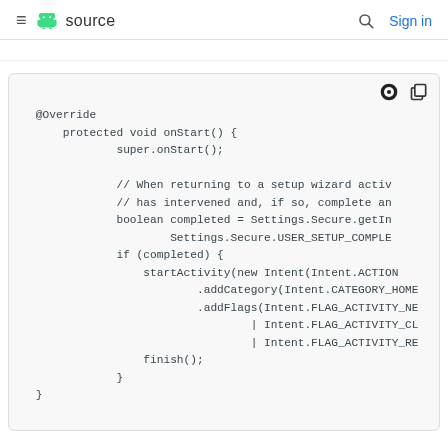≡  source   🔍  Sign in
...
[Figure (screenshot): Code block showing Android Java source code for onStart() method with @Override annotation, super.onStart() call, boolean completed check using Settings.Secure.getInt, if(completed) block with startActivity using Intent.ACTION, addCategory(Intent.CATEGORY_HOME), addFlags with FLAG_ACTIVITY_NEW, FLAG_ACTIVITY_CL, FLAG_ACTIVITY_RE, and finish() call.]